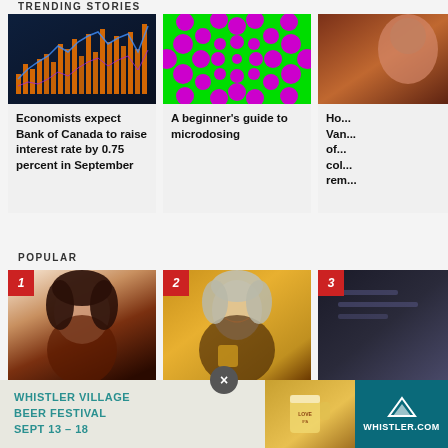TRENDING STORIES
[Figure (photo): Stock market chart with orange and blue bars on dark background]
Economists expect Bank of Canada to raise interest rate by 0.75 percent in September
[Figure (photo): Optical illusion with green background and pink/magenta circles in a spiral pattern]
A beginner's guide to microdosing
[Figure (photo): Partially visible photo of a person (cropped on right edge)]
Ho... Van... of... col... rem...
POPULAR
[Figure (photo): Popular item 1: Woman with dark hair, portrait]
[Figure (photo): Popular item 2: Woman with grey hair smiling, holding something]
[Figure (photo): Popular item 3: Partially visible dark image]
[Figure (photo): Whistler Village Beer Festival advertisement banner — Sept 13-18, whistler.com]